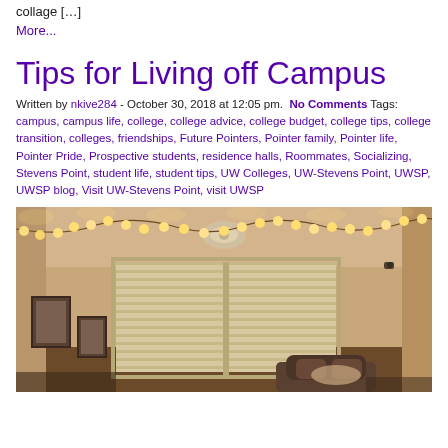collage […]
More...
Tips for Living off Campus
Written by nkive284 - October 30, 2018 at 12:05 pm.  No Comments Tags: campus, campus life, college, college advice, college budget, college tips, college transition, colleges, friendships, Future Pointers, Pointer family, Pointer life, Pointer Pride, Prospective students, residence halls, Roommates, Socializing, Stevens Point, student life, student tips, UW Colleges, UW-Stevens Point, UWSP, UWSP blog, Visit UW-Stevens Point, visit UWSP
[Figure (photo): A cozy off-campus apartment room with string lights draped along the upper walls near the ceiling, a ceiling fan/light fixture in the center, horizontal blinds on a large window, a framed picture on the left wall, and cushions/furniture in the lower portion of the frame. Warm amber lighting from the string lights.]